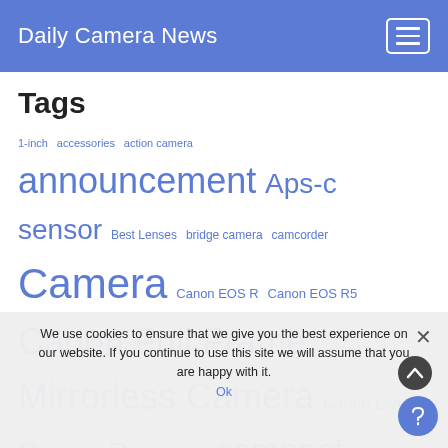Daily Camera News
Tags
1-inch accessories action camera announcement Aps-c sensor Best Lenses bridge camera camcorder Camera Canon EOS R Canon EOS R5 Canon Full Frame Mirrorless Camera Canon Lens Canon Rumors compact camera comparison Deal digital compact DSLR Firmware Fujifilm Lens Fujifilm Rumors Full Frame Lens macro Medium Format Micro Four Thirds Mirrorless Nikon Full Frame Mirrorless Camera Nikon Lens Nikon Rumors patent
We use cookies to ensure that we give you the best experience on our website. If you continue to use this site we will assume that you are happy with it. Ok